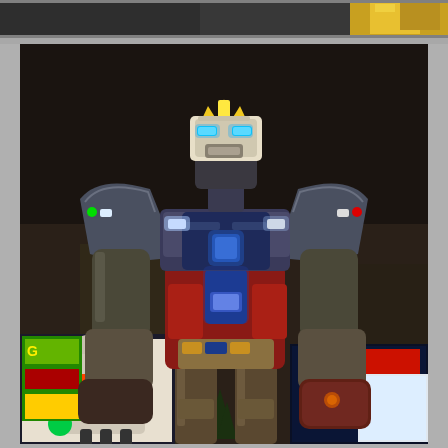[Figure (photo): Partial top image strip showing what appears to be a colorful scene with yellow signage visible on the right side, cropped at the top of the page.]
[Figure (photo): Large illuminated Gundam robot statue photographed at night from a low angle. The mecha figure is silver/chrome with blue, red, and gold colored armor panels and glowing lights. Behind it are large anime-style billboards and advertising screens, including a Gundam anime illustration on the left, Japanese text signage, and a bright screen on the right. Small trees and people silhouettes are visible at the base.]